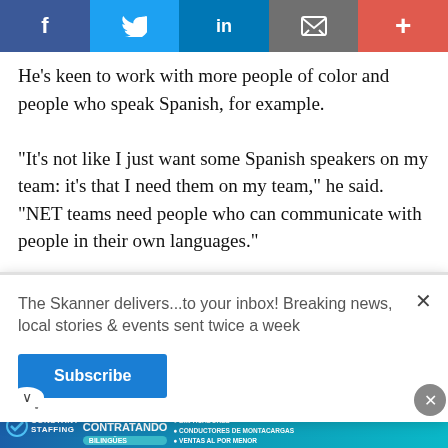[Figure (other): Social sharing bar with Facebook, Twitter, LinkedIn, email, and plus buttons]
He’s keen to work with more people of color and people who speak Spanish, for example.
“It’s not like I just want some Spanish speakers on my team: it’s that I need them on my team,” he said. “NET teams need people who can communicate with people in their own languages.”
The next NET training starts Sept. 17 and is open to
The Skanner delivers...to your inbox! Breaking news, local stories & events sent twice a week
Subscribe
[Figure (other): Constant Staffing advertisement in Spanish: ESTAMOS CONTRATANDO BILINGUES, listing job types and phone number 713-714-8909]